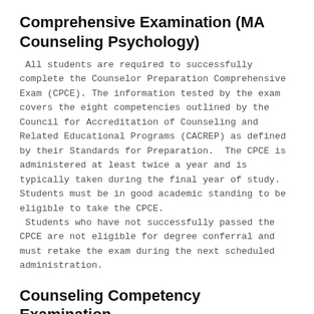Comprehensive Examination (MA Counseling Psychology)
All students are required to successfully complete the Counselor Preparation Comprehensive Exam (CPCE). The information tested by the exam covers the eight competencies outlined by the Council for Accreditation of Counseling and Related Educational Programs (CACREP) as defined by their Standards for Preparation.  The CPCE is administered at least twice a year and is typically taken during the final year of study. Students must be in good academic standing to be eligible to take the CPCE.
 Students who have not successfully passed the CPCE are not eligible for degree conferral and must retake the exam during the next scheduled administration.
Counseling Competency Examination (MA Counseling Psychology)